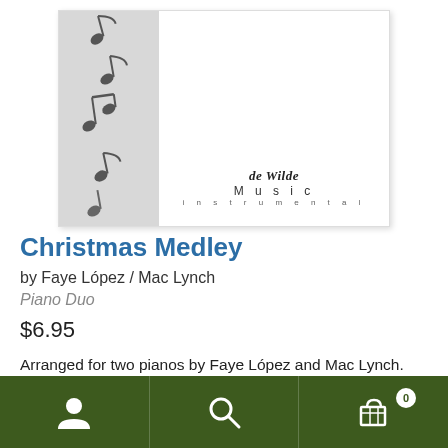[Figure (illustration): Product album art: left strip with grayscale music notes on textured background, right white area with 'de Wilde Music instrumental' script logo]
Christmas Medley
by Faye López / Mac Lynch
Piano Duo
$6.95
Arranged for two pianos by Faye López and Mac Lynch. Two copies are included. Each copy contains both parts. Medley features the following carols: Hark, the Herald Angels Sing; Silent
Navigation bar with user icon, search icon, and cart icon (0 items)